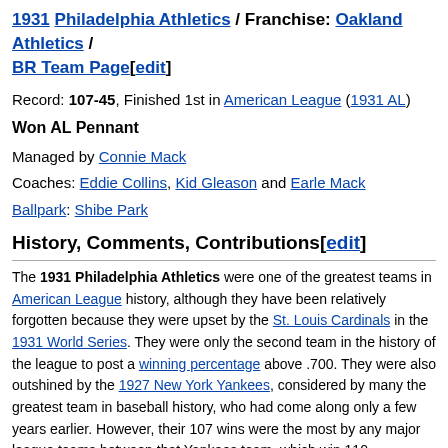1931 Philadelphia Athletics / Franchise: Oakland Athletics / BR Team Page[edit]
Record: 107-45, Finished 1st in American League (1931 AL)
Won AL Pennant
Managed by Connie Mack
Coaches: Eddie Collins, Kid Gleason and Earle Mack
Ballpark: Shibe Park
History, Comments, Contributions[edit]
The 1931 Philadelphia Athletics were one of the greatest teams in American League history, although they have been relatively forgotten because they were upset by the St. Louis Cardinals in the 1931 World Series. They were only the second team in the history of the league to post a winning percentage above .700. They were also outshined by the 1927 New York Yankees, considered by many the greatest team in baseball history, who had come along only a few years earlier. However, their 107 wins were the most by any major league teams between that Yankees team, which win 110